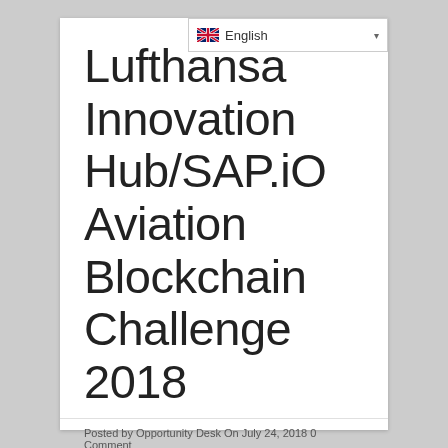[Figure (screenshot): Language selector dropdown showing English with UK flag icon]
Lufthansa Innovation Hub/SAP.iO Aviation Blockchain Challenge 2018
Posted by Opportunity Desk On July 24, 2018 0 Comment
52 SHARES
[Figure (other): Facebook share button (blue) and Twitter share button (light blue) with social media icons]